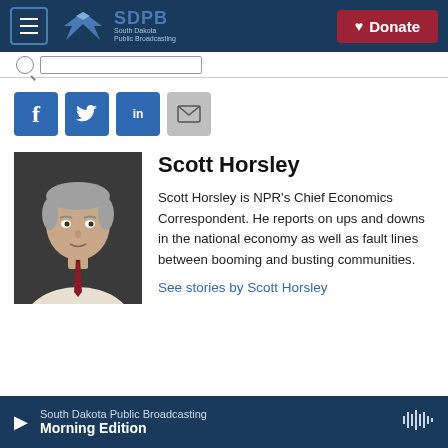[Figure (logo): SDPB South Dakota Public Broadcasting header with hamburger menu and Donate button]
[Figure (other): Social share buttons: Facebook, Twitter, LinkedIn, Email]
[Figure (photo): Headshot photo of Scott Horsley, a man with grey hair wearing a white shirt and red tie]
Scott Horsley
Scott Horsley is NPR's Chief Economics Correspondent. He reports on ups and downs in the national economy as well as fault lines between booming and busting communities.
See stories by Scott Horsley
South Dakota Public Broadcasting Morning Edition